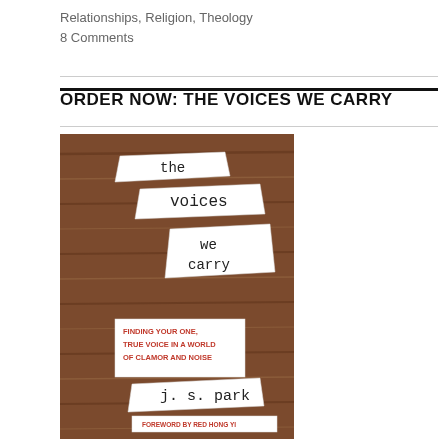Relationships, Religion, Theology
8 Comments
ORDER NOW: THE VOICES WE CARRY
[Figure (photo): Book cover of 'The Voices We Carry' by J.S. Park. Brown wood-grain background with white paper slips showing typewriter-font text: 'the', 'voices', 'we carry'. A red subtitle reads 'FINDING YOUR ONE, TRUE VOICE IN A WORLD OF CLAMOR AND NOISE'. Author name 'j. s. park' and 'FOREWORD BY RED HONG YI' at bottom.]